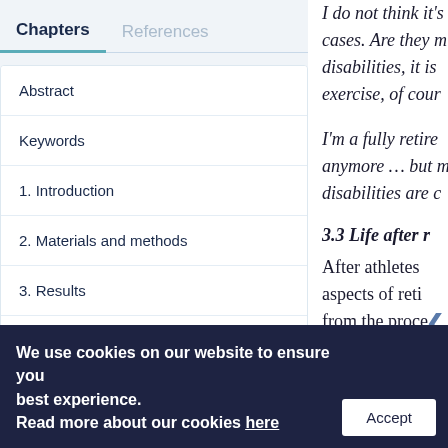Chapters	References
Abstract
Keywords
1. Introduction
2. Materials and methods
3. Results
4. Discussion
5. Conclusions
I do not think it's cases. Are they m disabilities, it is exercise, of cour
I'm a fully retire anymore … but m disabilities are c
3.3 Life after r
After athletes aspects of reti from the proce
We use cookies on our website to ensure you best experience.
Read more about our cookies here
Accept